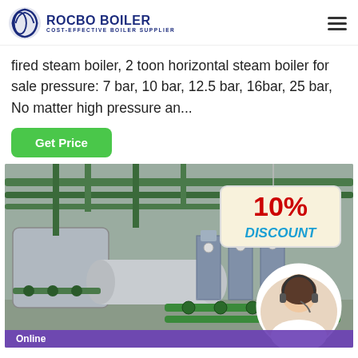[Figure (logo): Rocbo Boiler logo with circular icon and text 'ROCBO BOILER - COST-EFFECTIVE BOILER SUPPLIER']
fired steam boiler, 2 toon horizontal steam boiler for sale pressure: 7 bar, 10 bar, 12.5 bar, 16bar, 25 bar, No matter high pressure an...
Get Price
[Figure (photo): Industrial boiler room with pumps, pipes, and valves. Overlay shows '10% DISCOUNT' sign and customer service representative in circular frame. Bottom shows partial 'Online' text bar.]